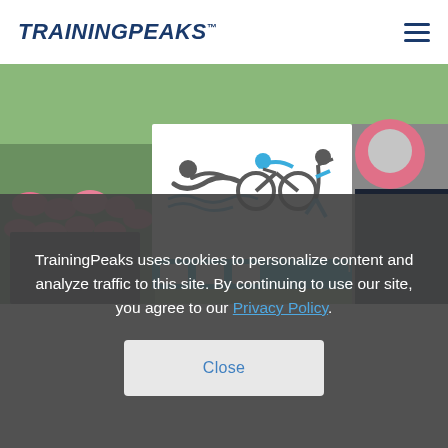TRAININGPEAKS
[Figure (screenshot): TrainingPeaks website screenshot showing a triathlon logo with swimmer, cyclist, and runner icons in blue and gray on white background, with a blue bar at the bottom, overlaid on an outdoor athletic event photo]
TrainingPeaks uses cookies to personalize content and analyze traffic to this site. By continuing to use our site, you agree to our Privacy Policy.
Close